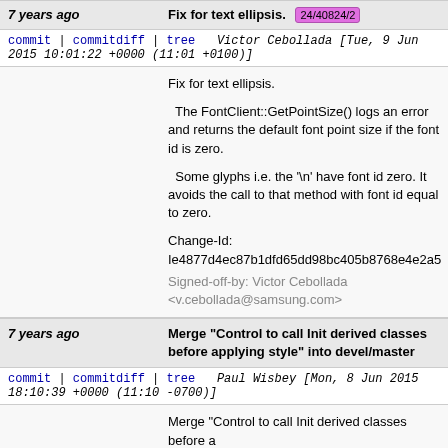7 years ago | Fix for text ellipsis. 24/40824/2
commit | commitdiff | tree   Victor Cebollada [Tue, 9 Jun 2015 10:01:22 +0000 (11:01 +0100)]
Fix for text ellipsis.

The FontClient::GetPointSize() logs an error and returns the default font point size if the font id is zero.

Some glyphs i.e. the '\n' have font id zero. It avoids the call to that method with font id equal to zero.

Change-Id: Ie4877d4ec87b1dfd65dd98bc405b8768e4e2a5
Signed-off-by: Victor Cebollada <v.cebollada@samsung.com>
7 years ago | Merge "Control to call Init derived classes before applying style" into devel/master
commit | commitdiff | tree   Paul Wisbey [Mon, 8 Jun 2015 18:10:39 +0000 (11:10 -0700)]
Merge "Control to call Init derived classes before a
7 years ago | Control to call Init derived classes before